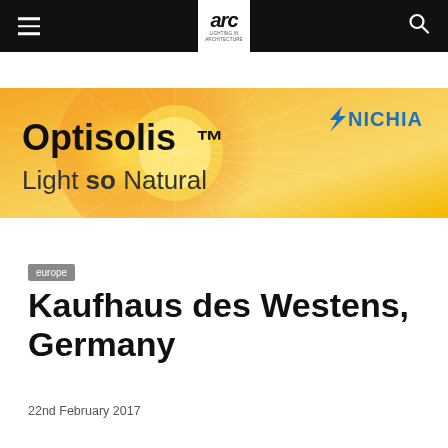arc — Lighting in Architecture
[Figure (illustration): Nichia Optisolis advertisement banner with orange-yellow gradient background and sun-burst graphic. Text reads: OptisolisTM Light so Natural. Nichia logo top right in blue.]
europe
Kaufhaus des Westens, Germany
22nd February 2017